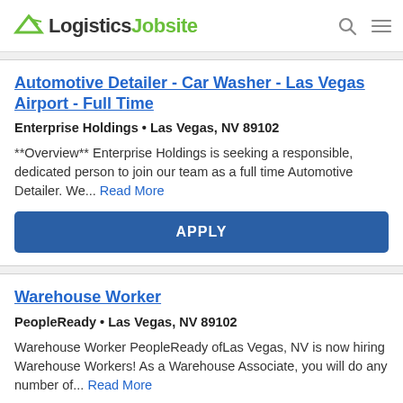LogisticsJobsite
Automotive Detailer - Car Washer - Las Vegas Airport - Full Time
Enterprise Holdings • Las Vegas, NV 89102
**Overview** Enterprise Holdings is seeking a responsible, dedicated person to join our team as a full time Automotive Detailer. We... Read More
APPLY
Warehouse Worker
PeopleReady • Las Vegas, NV 89102
Warehouse Worker PeopleReady ofLas Vegas, NV is now hiring Warehouse Workers! As a Warehouse Associate, you will do any number of... Read More